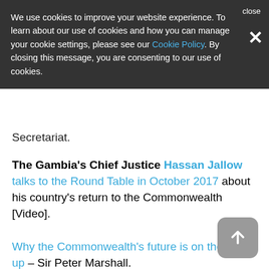We use cookies to improve your website experience. To learn about our use of cookies and how you can manage your cookie settings, please see our Cookie Policy. By closing this message, you are consenting to our use of cookies. close ×
Secretariat.
The Gambia's Chief Justice Hassan Jallow talks to the Round Table in October 2017 about his country's return to the Commonwealth [Video].
Why the Commonwealth's future is on the way up – Sir Peter Marshall.